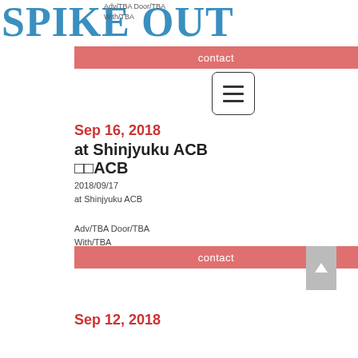SPIKE OUT
Adv/TBA Door/TBA
With/TBA
contact
Sep 16, 2018
at Shinjyuku ACB
□□ACB
2018/09/17
at Shinjyuku ACB
Adv/TBA Door/TBA
With/TBA
contact
Sep 12, 2018